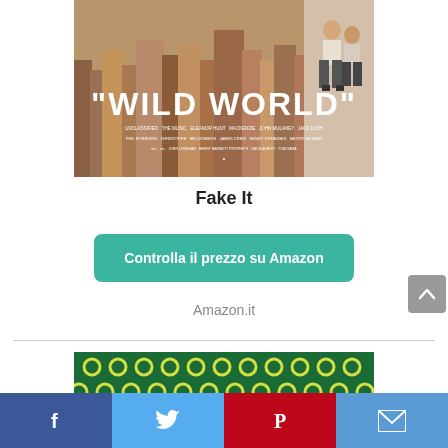[Figure (photo): Movie poster for 'Wild World' showing two people sitting on a ledge high above a New York City skyline. Large bold white text reads "WILD WORLD" with movie credits below.]
Fake It
Controlla il prezzo su Amazon
Amazon.it
[Figure (photo): Green fabric or textile with yellow circular ring pattern (sunflower or donut shapes).]
Facebook | Twitter | Pinterest | Email social share bar